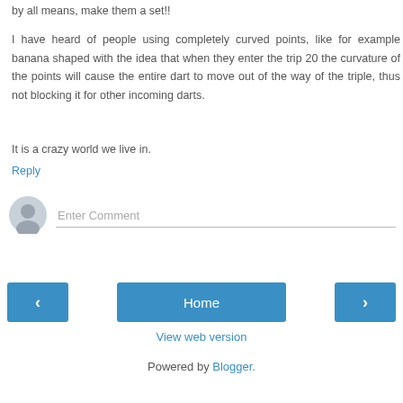by all means, make them a set!!
I have heard of people using completely curved points, like for example banana shaped with the idea that when they enter the trip 20 the curvature of the points will cause the entire dart to move out of the way of the triple, thus not blocking it for other incoming darts.
It is a crazy world we live in.
Reply
[Figure (other): Comment input area with avatar icon and Enter Comment placeholder text]
< Home >
View web version
Powered by Blogger.